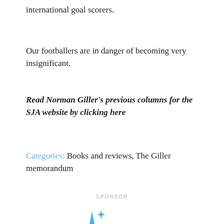international goal scorers.
Our footballers are in danger of becoming very insignificant.
Read Norman Giller's previous columns for the SJA website by clicking here
Categories: Books and reviews, The Giller memorandum
SPONSOR
[Figure (logo): The National Lottery logo with blue sparkle/hand design and bold text reading THE NATIONAL LOTTERY with registered trademark symbol]